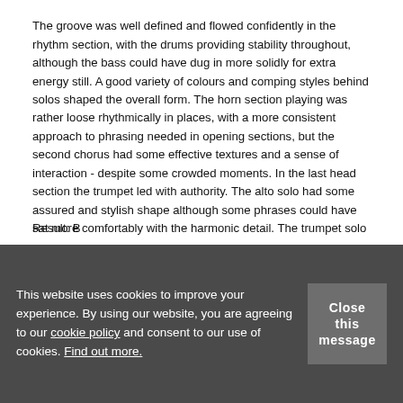The groove was well defined and flowed confidently in the rhythm section, with the drums providing stability throughout, although the bass could have dug in more solidly for extra energy still. A good variety of colours and comping styles behind solos shaped the overall form. The horn section playing was rather loose rhythmically in places, with a more consistent approach to phrasing needed in opening sections, but the second chorus had some effective textures and a sense of interaction - despite some crowded moments. In the last head section the trumpet led with authority. The alto solo had some assured and stylish shape although some phrases could have sat more comfortably with the harmonic detail. The trumpet solo was mainly fluent, with scope for more controlled pitch in places and a more consistent expression of the groove and, although the ending wasn't fully tight in the ensemble and accurate in individual parts, inventive formal ideas and a good dynamic build added shape and evident style to your arrangement.
Result: B
This website uses cookies to improve your experience. By using our website, you are agreeing to our cookie policy and consent to our use of cookies. Find out more.